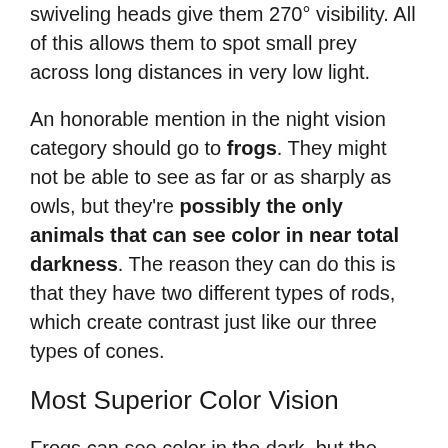swiveling heads give them 270° visibility. All of this allows them to spot small prey across long distances in very low light.
An honorable mention in the night vision category should go to frogs. They might not be able to see as far or as sharply as owls, but they're possibly the only animals that can see color in near total darkness. The reason they can do this is that they have two different types of rods, which create contrast just like our three types of cones.
Most Superior Color Vision
Frogs can see color in the dark, but the gold medal for best color vision has to go to the bluebottle butterfly. These beautiful insects have a whopping 15 different types of cones: one stimulated by ultraviolet light, another by violet light, three by slightly different blue lights, one by blue-green light,